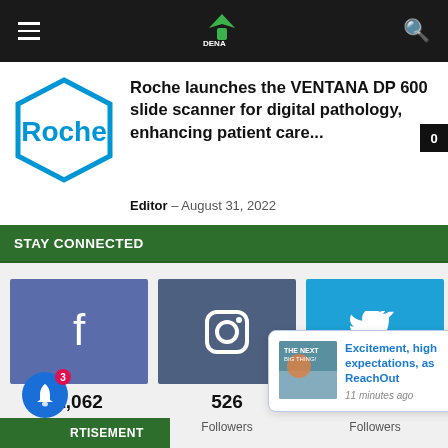Navigation bar with menu, logo, search
Roche launches the VENTANA DP 600 slide scanner for digital pathology, enhancing patient care...
Editor – August 31, 2022
STAY CONNECTED
[Figure (infographic): Social media icons: Facebook (1,062 Fans), Instagram (526 Followers), Twitter (83 Followers)]
Excitement, high expectations, as ReachOut
11 minutes ago
ADVERTISEMENT